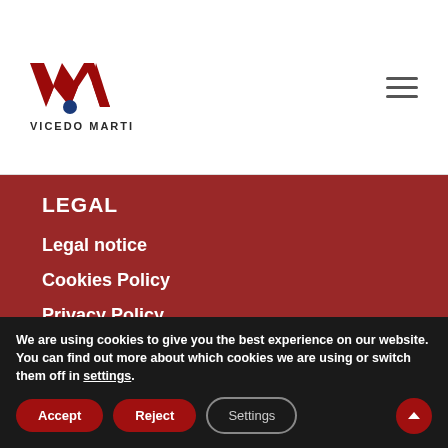[Figure (logo): Vicedo Marti company logo with stylized VM letters in red and blue dot, text 'VICEDO MARTI' below]
LEGAL
Legal notice
Cookies Policy
Privacy Policy
We are using cookies to give you the best experience on our website.
You can find out more about which cookies we are using or switch them off in settings.